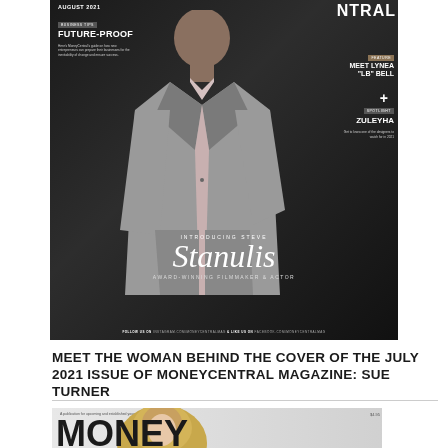[Figure (photo): Magazine cover of MoneyCentral, August 2021 issue. Features Steve Stanulis, Award-Winning Filmmaker & Actor in a grey suit on a dark background. Cover includes sections: Business Tips - Future-Proof, Feature - Meet Lynea 'LB' Bell, Spotlight - Zuleyha. Footer says follow on Instagram and Facebook.]
MEET THE WOMAN BEHIND THE COVER OF THE JULY 2021 ISSUE OF MONEYCENTRAL MAGAZINE: SUE TURNER
[Figure (photo): Partial view of another MoneyCentral magazine cover showing a woman with blonde hair and the beginning of the MONEY title text. Publication tagline visible at top.]